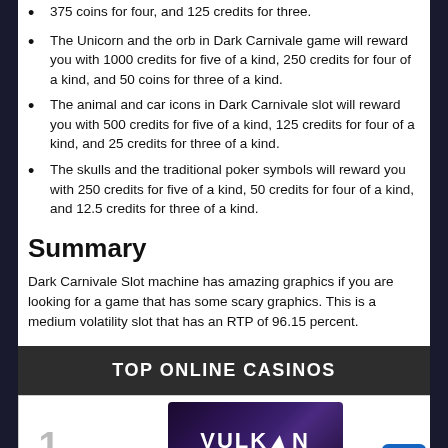375 coins for four, and 125 credits for three.
The Unicorn and the orb in Dark Carnivale game will reward you with 1000 credits for five of a kind, 250 credits for four of a kind, and 50 coins for three of a kind.
The animal and car icons in Dark Carnivale slot will reward you with 500 credits for five of a kind, 125 credits for four of a kind, and 25 credits for three of a kind.
The skulls and the traditional poker symbols will reward you with 250 credits for five of a kind, 50 credits for four of a kind, and 12.5 credits for three of a kind.
Summary
Dark Carnivale Slot machine has amazing graphics if you are looking for a game that has some scary graphics. This is a medium volatility slot that has an RTP of 96.15 percent.
[Figure (other): Dark banner with text TOP ONLINE CASINOS]
[Figure (other): Casino listing row showing rank 1 and Vulkan Vegas logo]